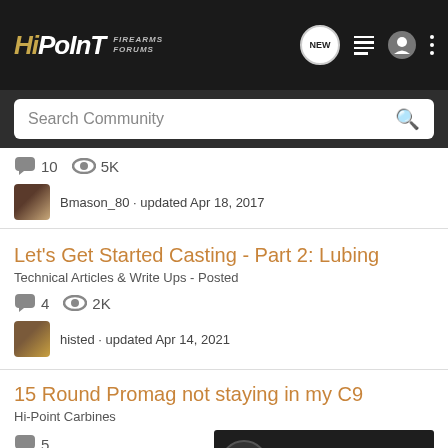HiPoint FIREARMS FORUMS
Search Community
10 comments · 5K views · Bmason_80 · updated Apr 18, 2017
Let's Get Started Casting - Part 2: Lubing
Technical Articles & Write Ups - Posted
4 comments · 2K views · histed · updated Apr 14, 2021
15 Round Promag not staying in my C9
Hi-Point Carbines
5 comments
[Figure (photo): Advertisement image with text EXCEPTIONAL DESIGNS. EXCEPTIONAL CRAFTSMANSHIP. with a logo on dark background showing a firearm part]